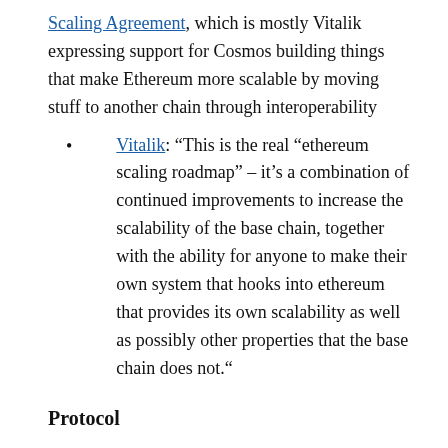Scaling Agreement, which is mostly Vitalik expressing support for Cosmos building things that make Ethereum more scalable by moving stuff to another chain through interoperability
Vitalik: “This is the real “ethereum scaling roadmap” – it’s a combination of continued improvements to increase the scalability of the base chain, together with the ability for anyone to make their own system that hooks into ethereum that provides its own scalability as well as possibly other properties that the base chain does not.“
Protocol